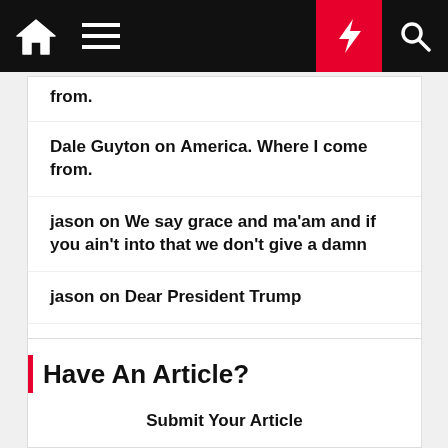[Navigation bar with home, menu, lightning, search icons]
from.
Dale Guyton on America. Where I come from.
jason on We say grace and ma'am and if you ain't into that we don't give a damn
jason on Dear President Trump
jason on Dear President Trump
jason on America. Where I come from.
Have An Article?
Submit Your Article